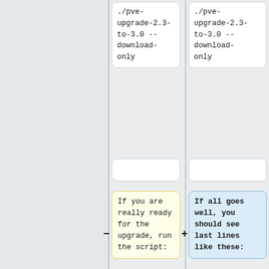./pve-upgrade-2.3-to-3.0 --download-only
./pve-upgrade-2.3-to-3.0 --download-only
If you are really ready for the upgrade, run the script:
If all goes well, you should see last lines like these:
Fetched 277 MB in 6min 7s (752 kB/s)
Download complete and